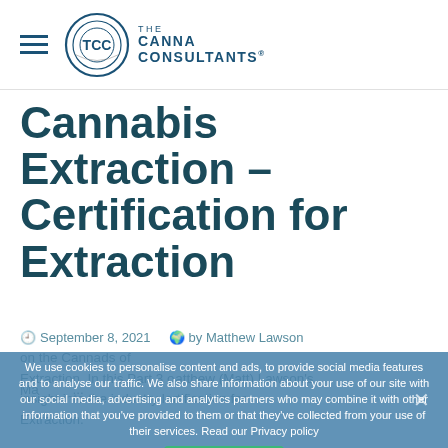[Figure (logo): The Canna Consultants logo with hamburger menu icon, circular TCC emblem and text THE CANNA CONSULTANTS®]
Cannabis Extraction – Certification for Extraction
September 8, 2021  by Matthew Lawson
Matthew (Matt) Lawson's insight into the industry lo...rtification for Extraction. In this Part 3 of...on the Canna...ds of Extraction.
We use cookies to personalise content and ads, to provide social media features and to analyse our traffic. We also share information about your use of our site with our social media, advertising and analytics partners who may combine it with other information that you've provided to them or that they've collected from your use of their services. Read our Privacy policy
Accept All